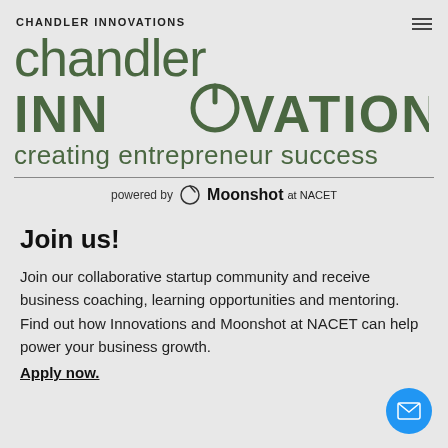CHANDLER INNOVATIONS
[Figure (logo): Chandler Innovations logo with 'chandler' in large lowercase green text, 'INNOVATIONS' in large uppercase green bold text with a power-button icon replacing the 'O', tagline 'creating entrepreneur success' in green, horizontal divider, 'powered by Moonshot at NACET' text below]
Join us!
Join our collaborative startup community and receive business coaching, learning opportunities and mentoring. Find out how Innovations and Moonshot at NACET can help power your business growth.
Apply now.